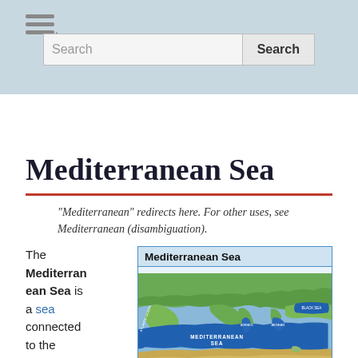Search bar with hamburger menu
Mediterranean Sea
"Mediterranean" redirects here. For other uses, see Mediterranean (disambiguation).
The Mediterranean Sea is a sea connected to the Atlantic Ocean, surrounded
[Figure (map): Map of the Mediterranean Sea showing surrounding land masses in green/brown, with the Mediterranean Sea and sub-seas labeled in blue. Countries and regions of Europe, North Africa, and Middle East visible.]
Map of the Mediterranean Sea